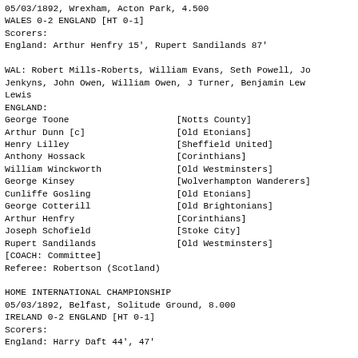05/03/1892, Wrexham, Acton Park, 4.500
WALES 0-2 ENGLAND [HT 0-1]
Scorers:
England: Arthur Henfry 15', Rupert Sandilands 87'
WAL: Robert Mills-Roberts, William Evans, Seth Powell, Jo
Jenkyns, John Owen, William Owen, J Turner, Benjamin Lew
Lewis
ENGLAND:
George Toone                    [Notts County]
Arthur Dunn [c]                 [Old Etonians]
Henry Lilley                    [Sheffield United]
Anthony Hossack                 [Corinthians]
William Winckworth              [Old Westminsters]
George Kinsey                   [Wolverhampton Wanderers]
Cunliffe Gosling                [Old Etonians]
George Cotterill                [Old Brightonians]
Arthur Henfry                   [Corinthians]
Joseph Schofield                [Stoke City]
Rupert Sandilands               [Old Westminsters]
[COACH: Committee]
Referee: Robertson (Scotland)
HOME INTERNATIONAL CHAMPIONSHIP
05/03/1892, Belfast, Solitude Ground, 8.000
IRELAND 0-2 ENGLAND [HT 0-1]
Scorers:
England: Harry Daft 44', 47'
IRE: John Clugston, William Gordon, Robert Stewart, Natha